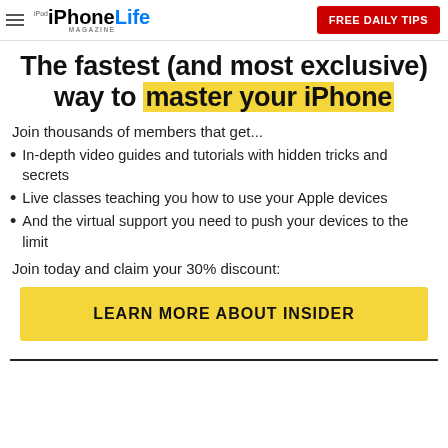iPhone Life Magazine — FREE DAILY TIPS
The fastest (and most exclusive) way to master your iPhone
Join thousands of members that get...
In-depth video guides and tutorials with hidden tricks and secrets
Live classes teaching you how to use your Apple devices
And the virtual support you need to push your devices to the limit
Join today and claim your 30% discount:
LEARN MORE ABOUT INSIDER